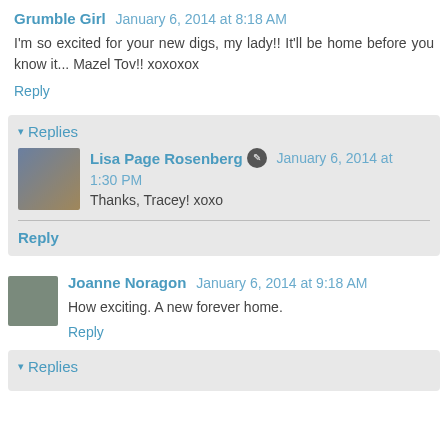Grumble Girl  January 6, 2014 at 8:18 AM
I'm so excited for your new digs, my lady!! It'll be home before you know it... Mazel Tov!! xoxoxox
Reply
Replies
Lisa Page Rosenberg  January 6, 2014 at 1:30 PM
Thanks, Tracey! xoxo
Reply
Joanne Noragon  January 6, 2014 at 9:18 AM
How exciting. A new forever home.
Reply
Replies